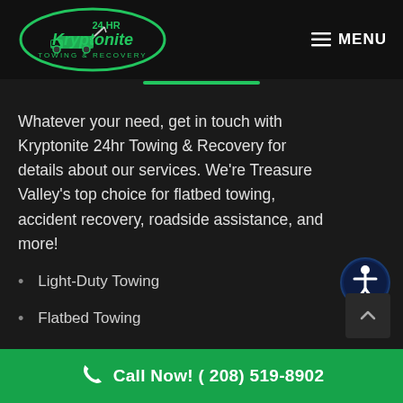[Figure (logo): Kryptonite 24 HR Towing & Recovery logo — oval green border with tow truck silhouette and green text on black background]
MENU
Whatever your need, get in touch with Kryptonite 24hr Towing & Recovery for details about our services. We're Treasure Valley's top choice for flatbed towing, accident recovery, roadside assistance, and more!
Light-Duty Towing
Flatbed Towing
Motorcycle Towing
Auto Transport
Call Now! ( 208) 519-8902